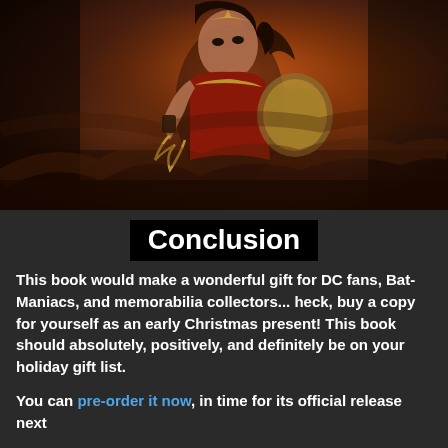[Figure (illustration): Digital painting of Wonder Woman in her iconic red and gold costume, holding her lasso of truth, with a shield visible, set against a dramatic fiery orange and brown smoky background.]
Conclusion
This book would make a wonderful gift for DC fans, Bat-Maniacs, and memorabilia collectors... heck, buy a copy for yourself as an early Christmas present! This book should absolutely, positively, and definitely be on your holiday gift list.
You can pre-order it now, in time for its official release next